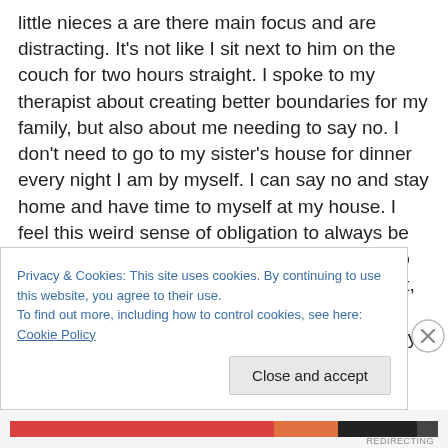little nieces a are there main focus and are distracting. It's not like I sit next to him on the couch for two hours straight. I spoke to my therapist about creating better boundaries for my family, but also about me needing to say no. I don't need to go to my sister's house for dinner every night I am by myself. I can say no and stay home and have time to myself at my house. I feel this weird sense of obligation to always be there unless I have other plans. It was weird to be home alone Tuesday and Wednesday night, but it was also a much needed break. It made me realize how unhealthy and dysfunctional my
Privacy & Cookies: This site uses cookies. By continuing to use this website, you agree to their use.
To find out more, including how to control cookies, see here: Cookie Policy